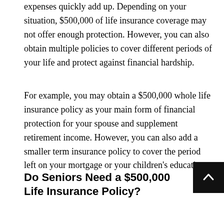expenses quickly add up. Depending on your situation, $500,000 of life insurance coverage may not offer enough protection. However, you can also obtain multiple policies to cover different periods of your life and protect against financial hardship.
For example, you may obtain a $500,000 whole life insurance policy as your main form of financial protection for your spouse and supplement retirement income. However, you can also add a smaller term insurance policy to cover the period left on your mortgage or your children's education.
Do Seniors Need a $500,000 Life Insurance Policy?